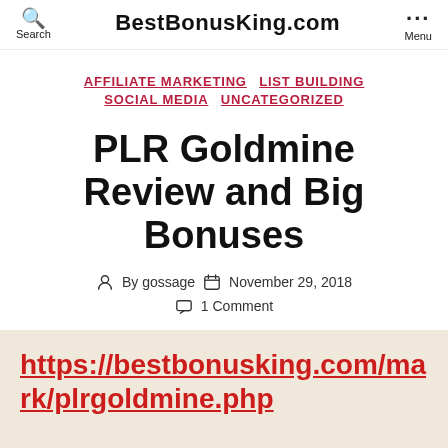BestBonusKing.com
AFFILIATE MARKETING  LIST BUILDING  SOCIAL MEDIA  UNCATEGORIZED
PLR Goldmine Review and Big Bonuses
By gossage  November 29, 2018  1 Comment
https://bestbonusking.com/mark/plrgoldmine.php